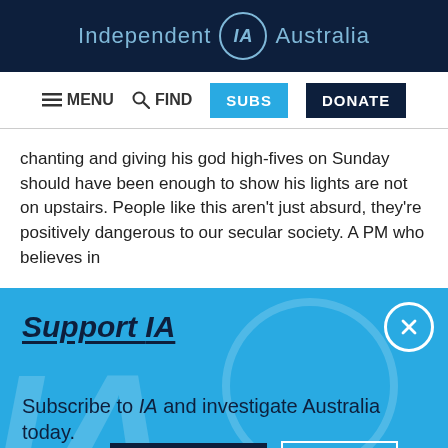Independent IA Australia
[Figure (screenshot): Navigation bar with MENU, FIND, SUBS, DONATE buttons]
chanting and giving his god high-fives on Sunday should have been enough to show his lights are not on upstairs. People like this aren't just absurd, they're positively dangerous to our secular society. A PM who believes in
Support IA
Subscribe to IA and investigate Australia today.
[Figure (screenshot): Close, Subscribe, and Donate buttons on blue background]
Social media icons: Twitter, Facebook, LinkedIn, Flipboard, Share, More